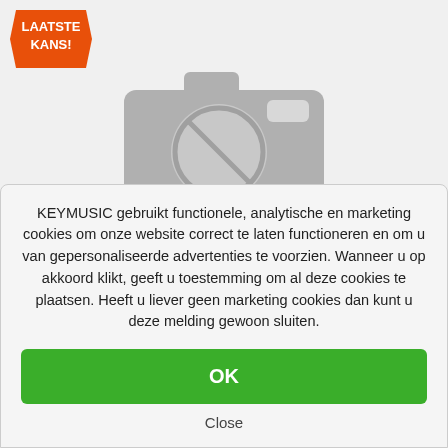[Figure (illustration): Orange ticket-shaped badge with text LAATSTE KANS! in white bold capital letters]
[Figure (illustration): Gray placeholder camera icon with a prohibition/no-image symbol (circle with diagonal line) in the center]
KEYMUSIC gebruikt functionele, analytische en marketing cookies om onze website correct te laten functioneren en om u van gepersonaliseerde advertenties te voorzien. Wanneer u op akkoord klikt, geeft u toestemming om al deze cookies te plaatsen. Heeft u liever geen marketing cookies dan kunt u deze melding gewoon sluiten.
OK
Close